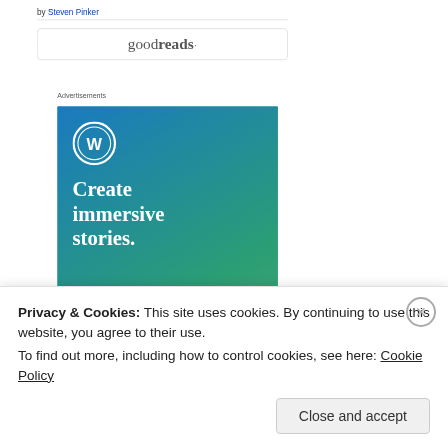by Steven Pinker
[Figure (logo): Goodreads logo button]
Advertisements
[Figure (illustration): WordPress advertisement: blue-green gradient background with WordPress logo and text 'Create immersive stories.']
| Country | Ethnicity |
| --- | --- |
|  | South Asian |
|  | West-European |
| Belize | Black African |
|  | Native American |
| South Africa | Black African |
| Malaysia | South-East Asian / Polynesian |
| Bosnia | East-European |
| Samoa | South-East Asian / Polynesian |
| Jordan | West and ... |
Privacy & Cookies: This site uses cookies. By continuing to use this website, you agree to their use.
To find out more, including how to control cookies, see here: Cookie Policy
Close and accept